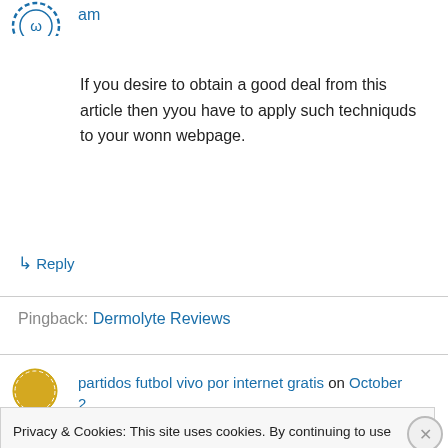[Figure (illustration): Partial avatar icon at top left, circular with decorative dotted border]
am
If you desire to obtain a good deal from this article then yyou have to apply such techniquds to your wonn webpage.
↳ Reply
Pingback: Dermolyte Reviews
[Figure (illustration): Avatar icon, circular gold/yellow with dotted border]
partidos futbol vivo por internet gratis on October 2,
Privacy & Cookies: This site uses cookies. By continuing to use this website, you agree to their use.
To find out more, including how to control cookies, see here: Cookie Policy
Close and accept